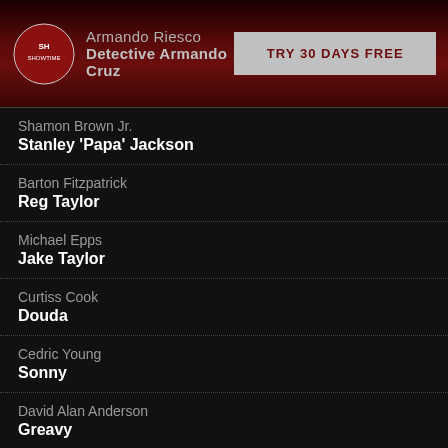Armando Riesco / Detective Armando Cruz | TRY 30 DAYS FREE
Shamon Brown Jr. / Stanley 'Papa' Jackson
Barton Fitzpatrick / Reg Taylor
Michael Epps / Jake Taylor
Curtiss Cook / Douda
Cedric Young / Sonny
David Alan Anderson / Greavy
La Donna Tittle / Miss Ethel
Phillip Edward Van Lear / Alderman Benner